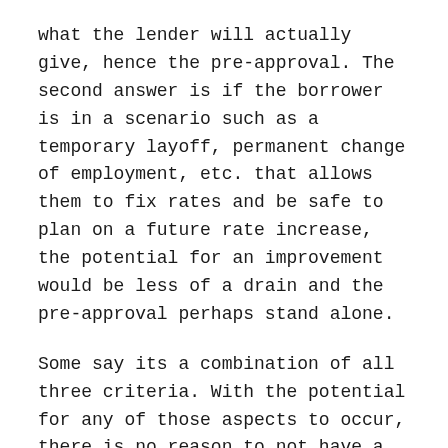what the lender will actually give, hence the pre-approval. The second answer is if the borrower is in a scenario such as a temporary layoff, permanent change of employment, etc. that allows them to fix rates and be safe to plan on a future rate increase, the potential for an improvement would be less of a drain and the pre-approval perhaps stand alone.
Some say its a combination of all three criteria. With the potential for any of those aspects to occur, there is no reason to not have a pre-approval. As they say, it is “to be determined whether a rate increase will occur substantively”.
Increase up or at what rate?
The lender’s mortgage insurance (MI) fee can have a